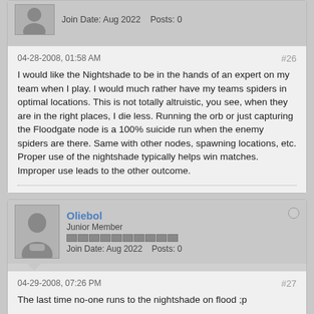Join Date: Aug 2022   Posts: 0
04-28-2008, 01:58 AM
#26
I would like the Nightshade to be in the hands of an expert on my team when I play. I would much rather have my teams spiders in optimal locations. This is not totally altruistic, you see, when they are in the right places, I die less. Running the orb or just capturing the Floodgate node is a 100% suicide run when the enemy spiders are there. Same with other nodes, spawning locations, etc. Proper use of the nightshade typically helps win matches. Improper use leads to the other outcome.
Oliebol
Junior Member
Join Date: Aug 2022   Posts: 0
04-29-2008, 07:26 PM
#27
The last time no-one runs to the nightshade on flood ;p

So i'll grab it place a shield at the node. Let the enemy's jump into it on my nightshade to give me a kill. Don't go away from your node to place